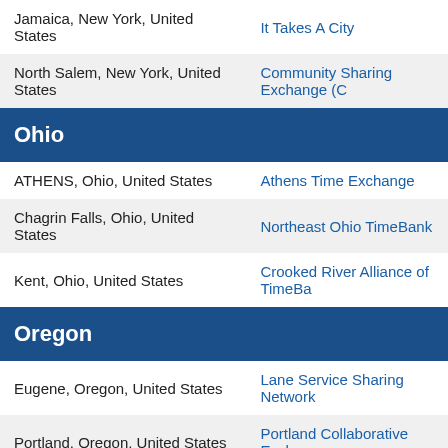| Location | Organization |
| --- | --- |
| Jamaica, New York, United States | It Takes A City |
| North Salem, New York, United States | Community Sharing Exchange (C... |
| Ohio |  |
| ATHENS, Ohio, United States | Athens Time Exchange |
| Chagrin Falls, Ohio, United States | Northeast Ohio TimeBank |
| Kent, Ohio, United States | Crooked River Alliance of TimeBa... |
| Oregon |  |
| Eugene, Oregon, United States | Lane Service Sharing Network |
| Portland, Oregon, United States | Portland Collaborative Exchange |
| Pennsylvania |  |
| Allentown, Pennsylvania, United States | Neighbor-2-Neighbor |
| BlueBell, Pennsylvania, United States | Good Neighbors Time Bank |